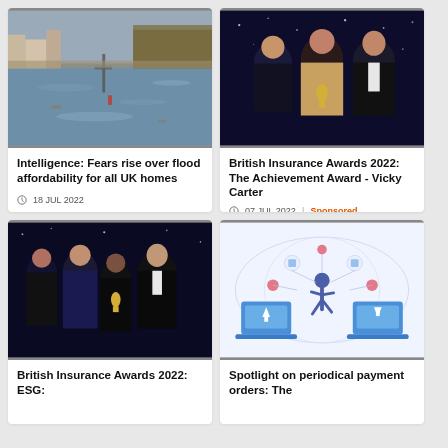[Figure (photo): Flooded riverside area with brown water, buildings and a cross/sign partially submerged]
Intelligence: Fears rise over flood affordability for all UK homes
18 JUL 2022
[Figure (photo): Three people at an awards ceremony, woman in center holding a trophy, man in tuxedo on right]
British Insurance Awards 2022: The Achievement Award - Vicky Carter
07 JUL 2022 | Sponsored
[Figure (photo): Four people at an awards ceremony posing together, one holding a trophy]
British Insurance Awards 2022: ESG:
[Figure (illustration): Digital illustration of a person running between two laptops with upload/download icons, connected by dots and network lines on a world map background]
Spotlight on periodical payment orders: The